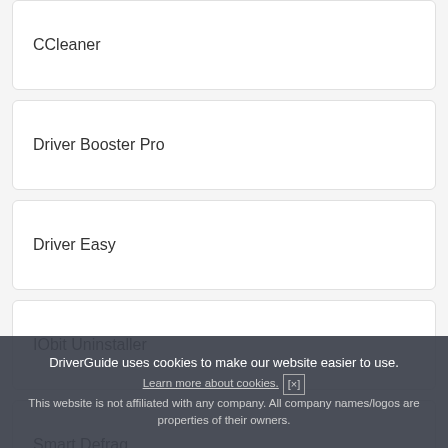CCleaner
Driver Booster Pro
Driver Easy
IObit Uninstaller
Smart Defrag
DriverGuide uses cookies to make our website easier to use. Learn more about cookies. [x] This website is not affiliated with any company. All company names/logos are properties of their owners.